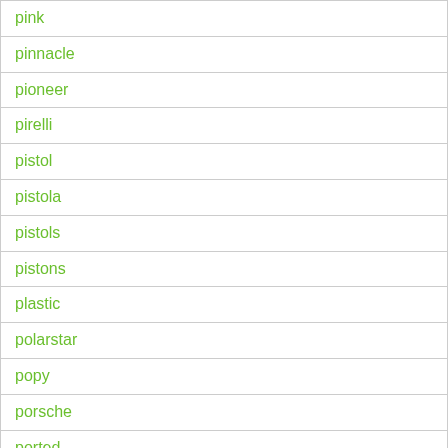| pink |
| pinnacle |
| pioneer |
| pirelli |
| pistol |
| pistola |
| pistols |
| pistons |
| plastic |
| polarstar |
| popy |
| porsche |
| ported |